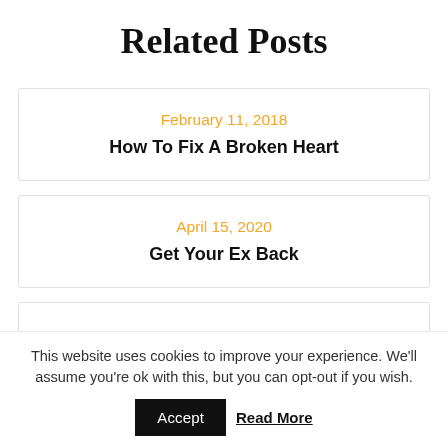Related Posts
February 11, 2018
How To Fix A Broken Heart
April 15, 2020
Get Your Ex Back
This website uses cookies to improve your experience. We'll assume you're ok with this, but you can opt-out if you wish.
Accept   Read More